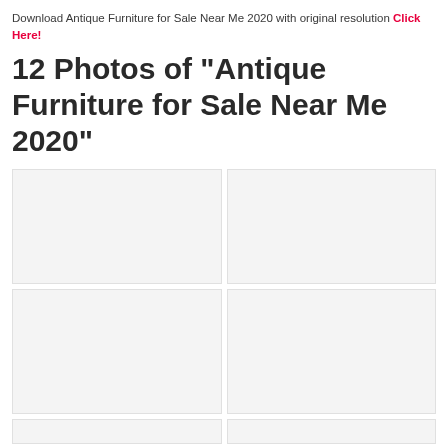Download Antique Furniture for Sale Near Me 2020 with original resolution Click Here!
12 Photos of "Antique Furniture for Sale Near Me 2020"
[Figure (photo): Placeholder photo box 1 (top-left), light gray background]
[Figure (photo): Placeholder photo box 2 (top-right), light gray background]
[Figure (photo): Placeholder photo box 3 (middle-left), light gray background]
[Figure (photo): Placeholder photo box 4 (middle-right), light gray background]
[Figure (photo): Placeholder photo box 5 (bottom-left, partial), light gray background]
[Figure (photo): Placeholder photo box 6 (bottom-right, partial), light gray background]